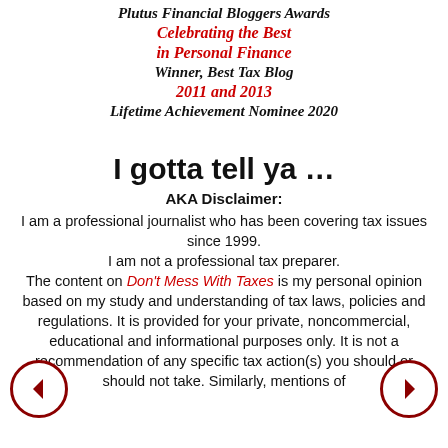Plutus Financial Bloggers Awards
Celebrating the Best
in Personal Finance
Winner, Best Tax Blog
2011 and 2013
Lifetime Achievement Nominee 2020
I gotta tell ya …
AKA Disclaimer:
I am a professional journalist who has been covering tax issues since 1999.
I am not a professional tax preparer.
The content on Don't Mess With Taxes is my personal opinion based on my study and understanding of tax laws, policies and regulations. It is provided for your private, noncommercial, educational and informational purposes only. It is not a recommendation of any specific tax action(s) you should or should not take. Similarly, mentions of